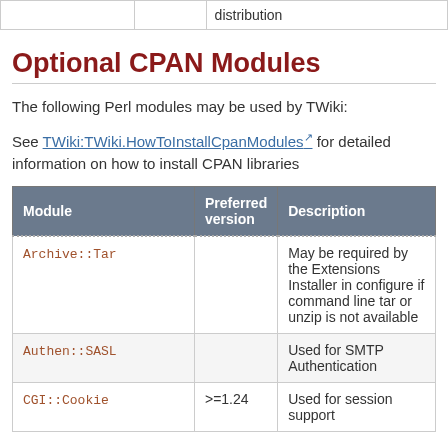|  |  | distribution |
| --- | --- | --- |
Optional CPAN Modules
The following Perl modules may be used by TWiki:
See TWiki:TWiki.HowToInstallCpanModules for detailed information on how to install CPAN libraries
| Module | Preferred version | Description |
| --- | --- | --- |
| Archive::Tar |  | May be required by the Extensions Installer in configure if command line tar or unzip is not available |
| Authen::SASL |  | Used for SMTP Authentication |
| CGI::Cookie | >=1.24 | Used for session support |